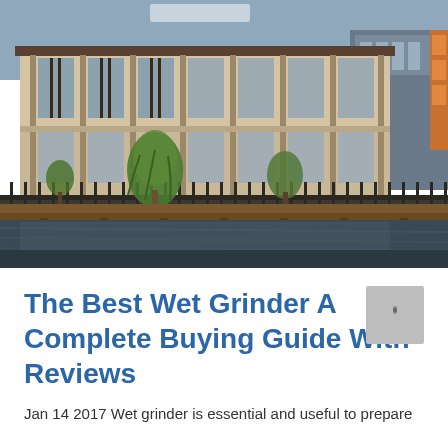[Figure (photo): Photograph of a modern multi-story building with large glass windows and stone facade, reflected in a calm water body in the foreground. Trees visible near the building entrance. Sky visible at the top.]
The Best Wet Grinder A Complete Buying Guide With Reviews
Jan 14 2017 Wet grinder is essential and useful to prepare